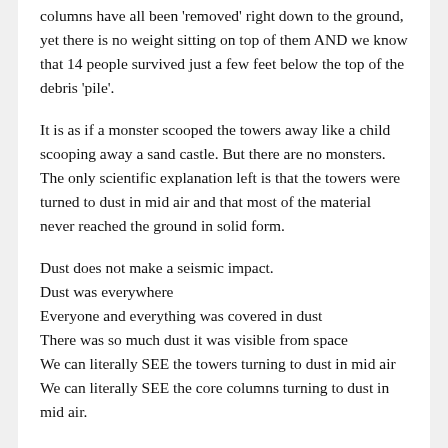columns have all been 'removed' right down to the ground, yet there is no weight sitting on top of them AND we know that 14 people survived just a few feet below the top of the debris 'pile'.
It is as if a monster scooped the towers away like a child scooping away a sand castle. But there are no monsters. The only scientific explanation left is that the towers were turned to dust in mid air and that most of the material never reached the ground in solid form.
Dust does not make a seismic impact.
Dust was everywhere
Everyone and everything was covered in dust
There was so much dust it was visible from space
We can literally SEE the towers turning to dust in mid air
We can literally SEE the core columns turning to dust in mid air.
So we have the situation where direct observation, logic,